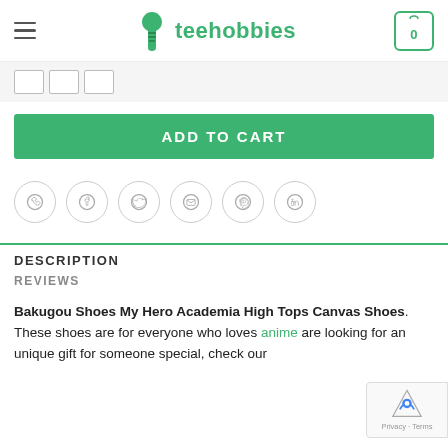teehobbies — navigation header with menu, logo, and cart (0)
[Figure (screenshot): Size selector row with three empty size option boxes on a light gray background]
ADD TO CART
[Figure (infographic): Row of six circular social sharing icons: WhatsApp, Facebook, Twitter, Email, Pinterest, LinkedIn]
DESCRIPTION
REVIEWS
Bakugou Shoes My Hero Academia High Tops Canvas Shoes. These shoes are for everyone who loves anime are looking for an unique gift for someone special, check our